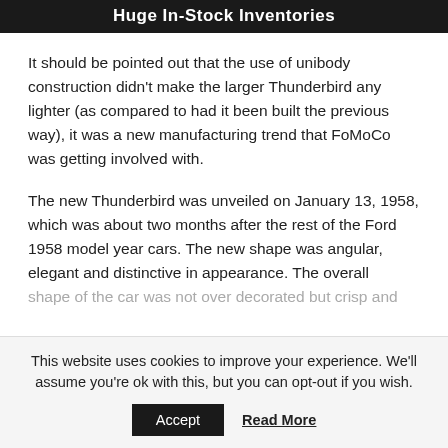Huge In-Stock Inventories
It should be pointed out that the use of unibody construction didn’t make the larger Thunderbird any lighter (as compared to had it been built the previous way), it was a new manufacturing trend that FoMoCo was getting involved with.
The new Thunderbird was unveiled on January 13, 1958, which was about two months after the rest of the Ford 1958 model year cars. The new shape was angular, elegant and distinctive in appearance. The overall shape of the car was not over decorated but crisps and...
This website uses cookies to improve your experience. We'll assume you're ok with this, but you can opt-out if you wish.
Accept   Read More